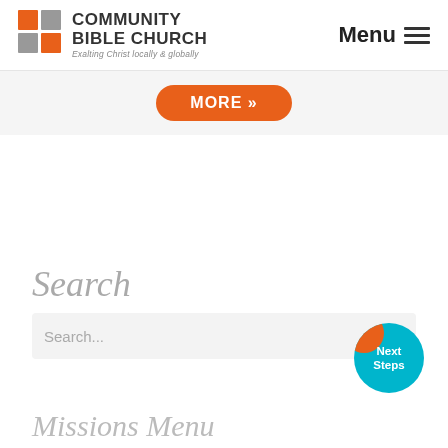[Figure (logo): Community Bible Church logo with orange and gray square grid icon, text 'COMMUNITY BIBLE CHURCH' and tagline 'Exalting Christ locally & globally']
Menu ≡
MORE »
Search
Search...
Next Steps
Missions Menu